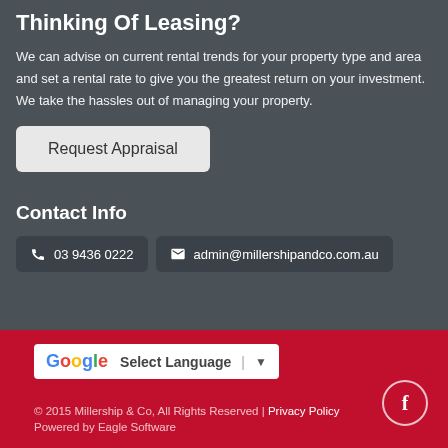Thinking Of Leasing?
We can advise on current rental trends for your property type and area and set a rental rate to give you the greatest return on your investment. We take the hassles out of managing your property.
Request Appraisal
Contact Info
03 9436 0222
admin@millershipandco.com.au
[Figure (other): Google Translate widget with Select Language dropdown]
© 2015 Millership & Co, All Rights Reserved | Privacy Policy
Powered by Eagle Software